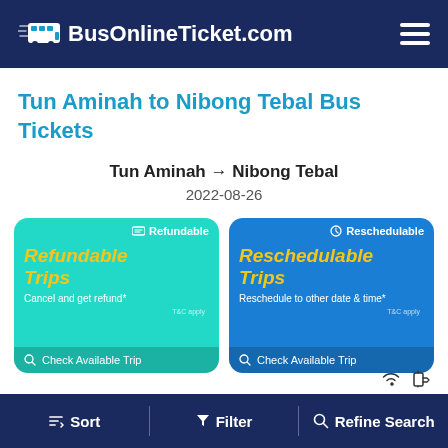BusOnlineTicket.com
Tun Aminah to Nibong Tebal Bus Tickets
Tun Aminah → Nibong Tebal
2022-08-26
[Figure (infographic): Two promotional cards side by side. Left card (teal/cyan): badge 'Refundable', title 'Refundable Trips', subtitle 'Cancel and get refund*', footer 'Check Available Trip'. Right card (blue): badge 'Reschedulable', title 'Reschedulable Trips', subtitle 'Reschedule to other date & time*', footer 'Check Available Trip'.]
Sort | Filter | Refine Search